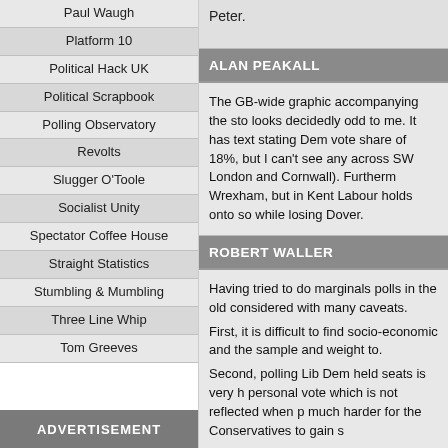Paul Waugh
Platform 10
Political Hack UK
Political Scrapbook
Polling Observatory
Revolts
Slugger O'Toole
Socialist Unity
Spectator Coffee House
Straight Statistics
Stumbling & Mumbling
Three Line Whip
Tom Greeves
ADVERTISEMENT
Peter.
ALAN PEAKALL
The GB-wide graphic accompanying the sto looks decidedly odd to me. It has text stating Dem vote share of 18%, but I can't see any across SW London and Cornwall). Furtherm Wrexham, but in Kent Labour holds onto so while losing Dover.
ROBERT WALLER
Having tried to do marginals polls in the old considered with many caveats.
First, it is difficult to find socio-economic and the sample and weight to.
Second, polling Lib Dem held seats is very h personal vote which is not reflected when p much harder for the Conservatives to gain s